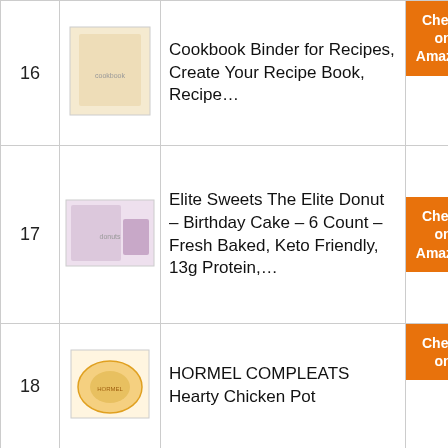| # | Image | Product | Link |
| --- | --- | --- | --- |
| 16 | [cookbook binder image] | Cookbook Binder for Recipes, Create Your Recipe Book, Recipe… | Check on Amazon |
| 17 | [elite sweets donut image] | Elite Sweets The Elite Donut – Birthday Cake – 6 Count – Fresh Baked, Keto Friendly, 13g Protein,… | Check on Amazon |
| 18 | [hormel compleats image] | HORMEL COMPLEATS Hearty Chicken Pot | Check on Amazon |